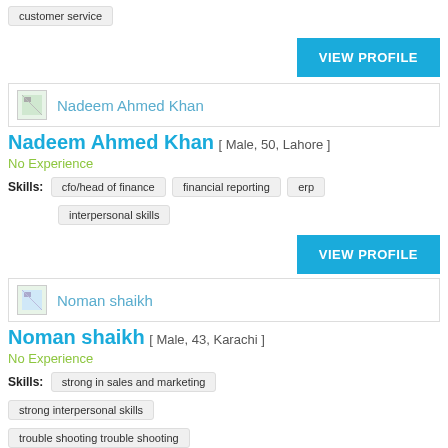customer service
VIEW PROFILE
Nadeem Ahmed Khan
Nadeem Ahmed Khan [ Male, 50, Lahore ]
No Experience
Skills: cfo/head of finance  financial reporting  erp  interpersonal skills
VIEW PROFILE
Noman shaikh
Noman shaikh [ Male, 43, Karachi ]
No Experience
Skills: strong in sales and marketing  strong interpersonal skills  trouble shooting trouble shooting